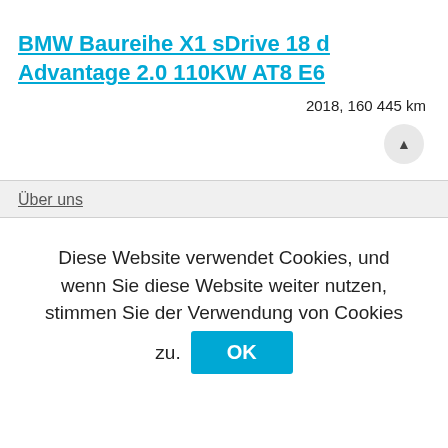BMW Baureihe X1 sDrive 18 d Advantage 2.0 110KW AT8 E6
2018, 160 445 km
Über uns
Diese Website verwendet Cookies, und wenn Sie diese Website weiter nutzen, stimmen Sie der Verwendung von Cookies zu. OK